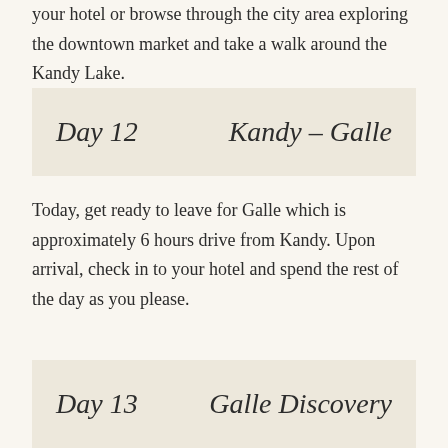your hotel or browse through the city area exploring the downtown market and take a walk around the Kandy Lake.
Day 12    Kandy – Galle
Today, get ready to leave for Galle which is approximately 6 hours drive from Kandy. Upon arrival, check in to your hotel and spend the rest of the day as you please.
Day 13    Galle Discovery